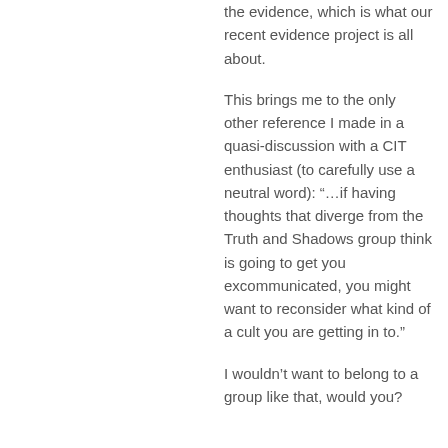the evidence, which is what our recent evidence project is all about.
This brings me to the only other reference I made in a quasi-discussion with a CIT enthusiast (to carefully use a neutral word): “…if having thoughts that diverge from the Truth and Shadows group think is going to get you excommunicated, you might want to reconsider what kind of a cult you are getting in to.”
I wouldn’t want to belong to a group like that, would you?